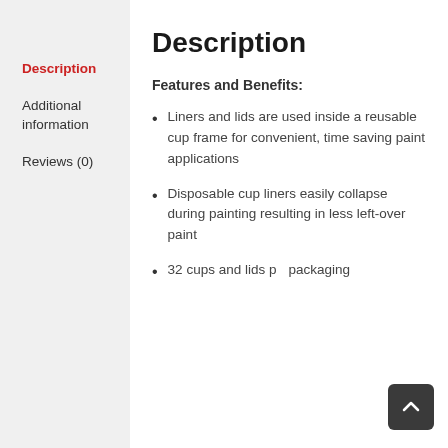Description
Additional information
Reviews (0)
Description
Features and Benefits:
Liners and lids are used inside a reusable cup frame for convenient, time saving paint applications
Disposable cup liners easily collapse during painting resulting in less left-over paint
32 cups and lids per packaging